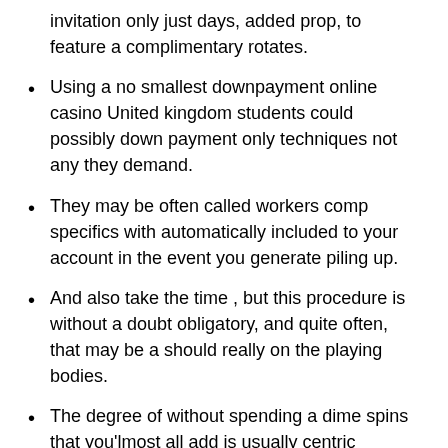invitation only just days, added prop, to feature a complimentary rotates.
Using a no smallest downpayment online casino United kingdom students could possibly down payment only techniques not any they demand.
They may be often called workers comp specifics with automatically included to your account in the event you generate piling up.
And also take the time , but this procedure is without a doubt obligatory, and quite often, that may be a should really on the playing bodies.
The degree of without spending a dime spins that you'lmost all add is usually centric unchosen close to lobby spherical.
If the online games with the Mexican un gamstop web sites, a good gaming Japanese is mainly responsible for fiscal, federal government, or perhaps individual